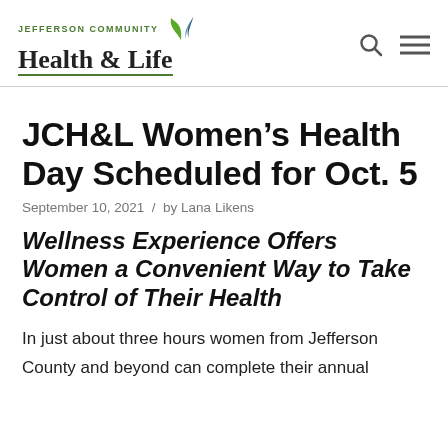JEFFERSON COMMUNITY Health & Life
JCH&L Women’s Health Day Scheduled for Oct. 5
September 10, 2021 / by Lana Likens
Wellness Experience Offers Women a Convenient Way to Take Control of Their Health
In just about three hours women from Jefferson County and beyond can complete their annual